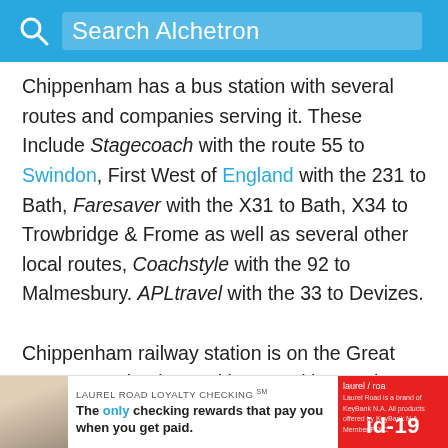Search Alchetron
Chippenham has a bus station with several routes and companies serving it. These Include Stagecoach with the route 55 to Swindon, First West of England with the 231 to Bath, Faresaver with the X31 to Bath, X34 to Trowbridge & Frome as well as several other local routes, Coachstyle with the 92 to Malmesbury. APLtravel with the 33 to Devizes.

Chippenham railway station is on the Great Western Main Line and is served by services between London Paddington and the West Country via Br... famo... gs
[Figure (screenshot): Advertisement overlay at bottom of page: Laurel Road Loyalty Checking ad with photo of woman, text 'The only checking rewards that pay you when you get paid.' and Laurel Road logo with id-19 badge in red.]